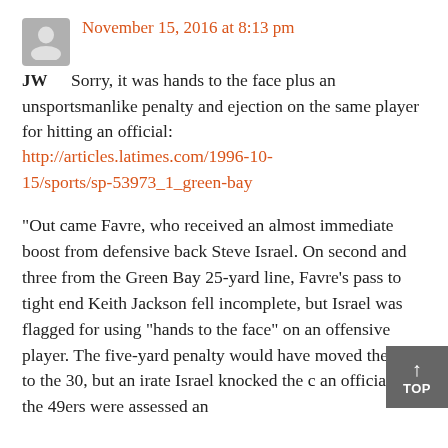November 15, 2016 at 8:13 pm
JW — Sorry, it was hands to the face plus an unsportsmanlike penalty and ejection on the same player for hitting an official: http://articles.latimes.com/1996-10-15/sports/sp-53973_1_green-bay
“Out came Favre, who received an almost immediate boost from defensive back Steve Israel. On second and three from the Green Bay 25-yard line, Favre’s pass to tight end Keith Jackson fell incomplete, but Israel was flagged for using “hands to the face” on an offensive player. The five-yard penalty would have moved the ball to the 30, but an irate Israel knocked the c[ap off] an official, and the 49ers were assessed an[...